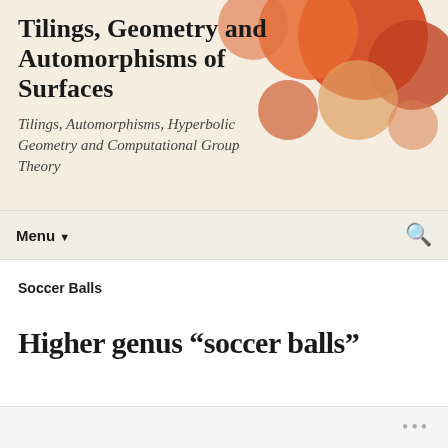Tilings, Geometry and Automorphisms of Surfaces
Tilings, Automorphisms, Hyperbolic Geometry and Computational Group Theory
Menu
Soccer Balls
Higher genus “soccer balls”